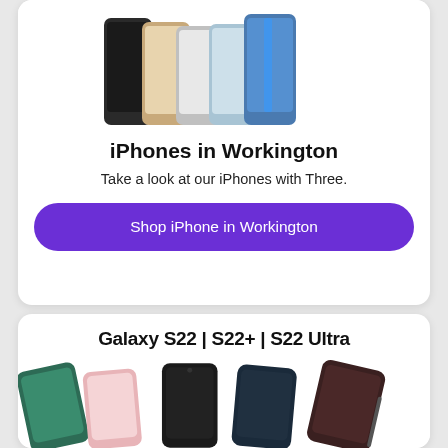[Figure (photo): Multiple iPhone 13 Pro models shown in a fan arrangement in various colors (black, gold, silver, blue) against white background]
iPhones in Workington
Take a look at our iPhones with Three.
Shop iPhone in Workington
Galaxy S22 | S22+ | S22 Ultra
[Figure (photo): Multiple Samsung Galaxy S22, S22+, and S22 Ultra phones shown in an arrangement, displaying various colors and orientations]